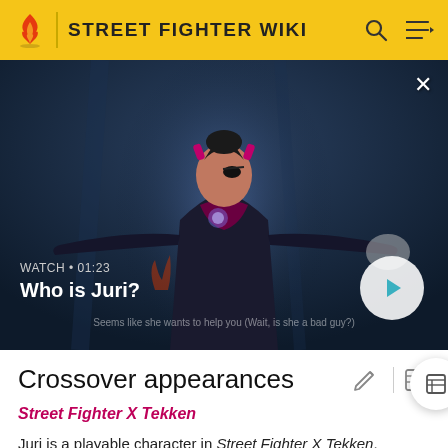STREET FIGHTER WIKI
[Figure (screenshot): Video thumbnail showing Juri from Street Fighter, a female character in a black outfit with an eye patch, arms outstretched against a dark blue background. Overlay shows WATCH • 01:23 / Who is Juri? with a play button.]
Crossover appearances
Street Fighter X Tekken
Juri is a playable character in Street Fighter X Tekken.